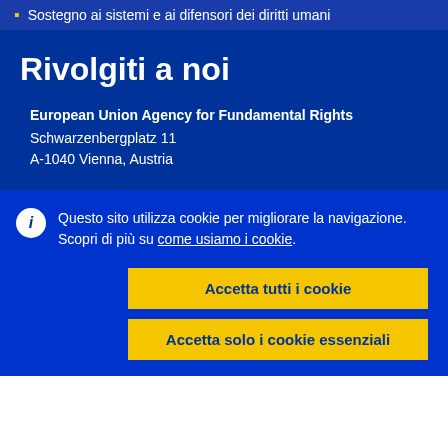Sostegno ai sistemi e ai difensori dei diritti umani
Rivolgiti a noi
European Union Agency for Fundamental Rights
Schwarzenbergplatz 11
A-1040 Vienna, Austria
Questo sito utilizza cookie per migliorare la navigazione. Scopri di più su come usiamo i cookie.
Accetta tutti i cookie
Accetta solo i cookie essenziali